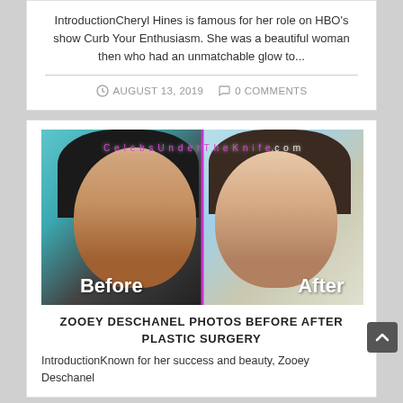IntroductionCheryl Hines is famous for her role on HBO's show Curb Your Enthusiasm. She was a beautiful woman then who had an unmatchable glow to...
AUGUST 13, 2019   0 COMMENTS
[Figure (photo): Before and after comparison photo of Zooey Deschanel with CelebsUnderTheKnife.com watermark, dividing line in the middle, 'Before' label on left, 'After' label on right]
ZOOEY DESCHANEL PHOTOS BEFORE AFTER PLASTIC SURGERY
IntroductionKnown for her success and beauty, Zooey Deschanel